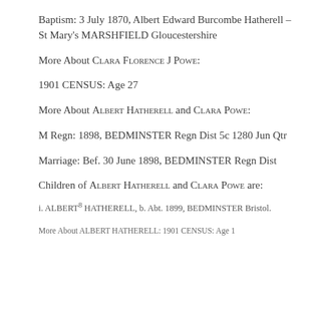Baptism: 3 July 1870, Albert Edward Burcombe Hatherell – St Mary's MARSHFIELD Gloucestershire
More About Clara Florence J Powe:
1901 CENSUS: Age 27
More About Albert Hatherell and Clara Powe:
M Regn: 1898, BEDMINSTER Regn Dist 5c 1280 Jun Qtr
Marriage: Bef. 30 June 1898, BEDMINSTER Regn Dist
Children of Albert Hatherell and Clara Powe are:
i. ALBERT8 HATHERELL, b. Abt. 1899, BEDMINSTER Bristol.
More About ALBERT HATHERELL: 1901 CENSUS: Age 1